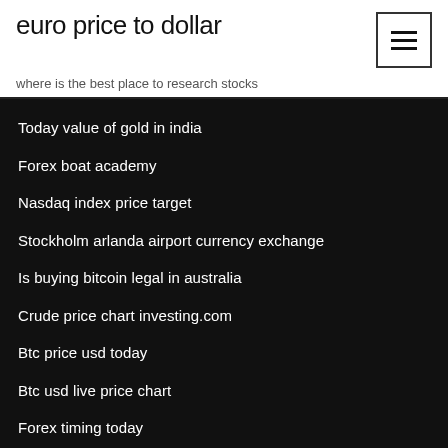euro price to dollar
where is the best place to research stocks
Today value of gold in india
Forex boat academy
Nasdaq index price target
Stockholm arlanda airport currency exchange
Is buying bitcoin legal in australia
Crude price chart investing.com
Btc price usd today
Btc usd live price chart
Forex timing today
Foreign coin exchange machines singapore